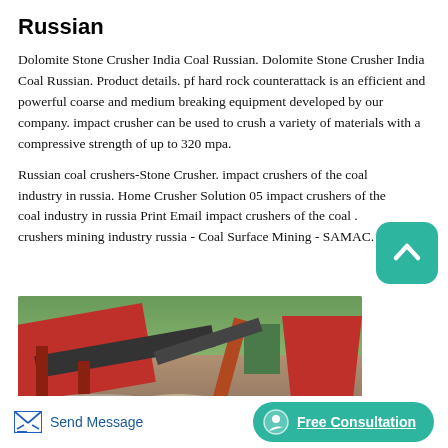Russian
Dolomite Stone Crusher India Coal Russian. Dolomite Stone Crusher India Coal Russian. Product details. pf hard rock counterattack is an efficient and powerful coarse and medium breaking equipment developed by our company. impact crusher can be used to crush a variety of materials with a compressive strength of up to 320 mpa.
Russian coal crushers-Stone Crusher. impact crushers of the coal industry in russia. Home Crusher Solution 05 impact crushers of the coal industry in russia Print Email impact crushers of the coal . crushers mining industry russia - Coal Surface Mining - SAMAC.
[Figure (photo): Industrial mining/crushing equipment scene showing red conveyor belts, crane structures, hopper, and gravel on a worksite with green trees/vegetation in background]
Send Message
Free Consultation